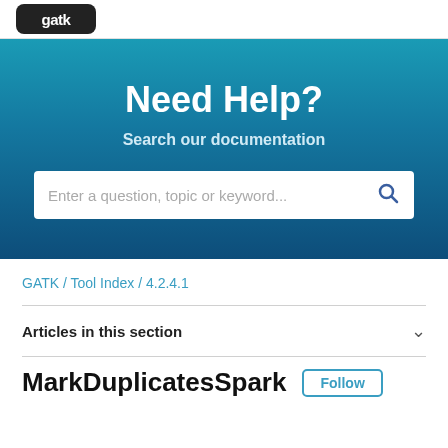gatk [logo]
Need Help?
Search our documentation
Enter a question, topic or keyword...
GATK / Tool Index / 4.2.4.1
Articles in this section
MarkDuplicatesSpark